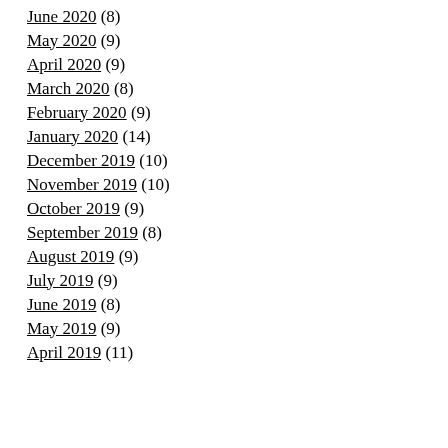June 2020 (8)
May 2020 (9)
April 2020 (9)
March 2020 (8)
February 2020 (9)
January 2020 (14)
December 2019 (10)
November 2019 (10)
October 2019 (9)
September 2019 (8)
August 2019 (9)
July 2019 (9)
June 2019 (8)
May 2019 (9)
April 2019 (11)